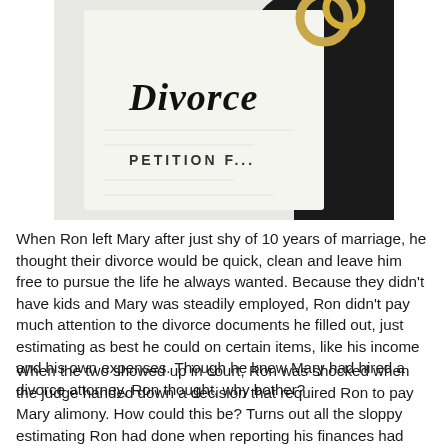[Figure (photo): A divorce petition document with the word 'Divorce' in script lettering and 'PETITION F...' text visible, with wedding rings in the background against a dark silhouette.]
When Ron left Mary after just shy of 10 years of marriage, he thought their divorce would be quick, clean and leave him free to pursue the life he always wanted. Because they didn't have kids and Mary was steadily employed, Ron didn't pay much attention to the divorce documents he filled out, just estimating as best he could on certain items, like his income and his own expenses. Though he knew Mary had hired a divorce attorney, Ron thought, why bother?
When the two showed up in court, Ron was shocked when the judge handed down a decision that required Ron to pay Mary alimony. How could this be? Turns out all the sloppy estimating Ron had done when reporting his finances had opened the door for Mary's lawyer to